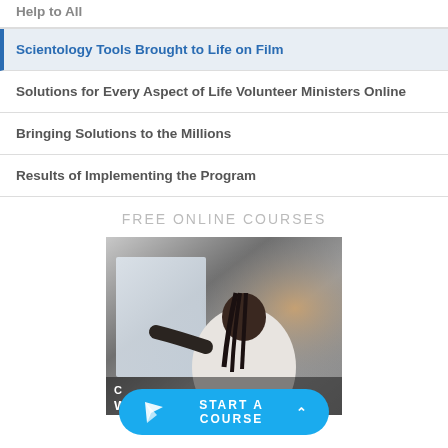Help to All
Scientology Tools Brought to Life on Film
Solutions for Every Aspect of Life Volunteer Ministers Online
Bringing Solutions to the Millions
Results of Implementing the Program
FREE ONLINE COURSES
[Figure (photo): A man in a white shirt gesturing with his hand in front of a screen, with text overlay reading 'WITH EASE AND' and a 'START A COURSE' button overlaid at bottom]